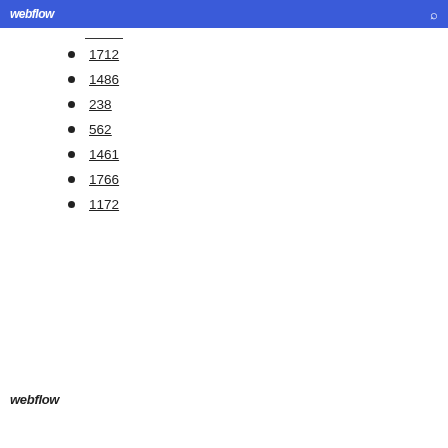webflow
1712
1486
238
562
1461
1766
1172
webflow